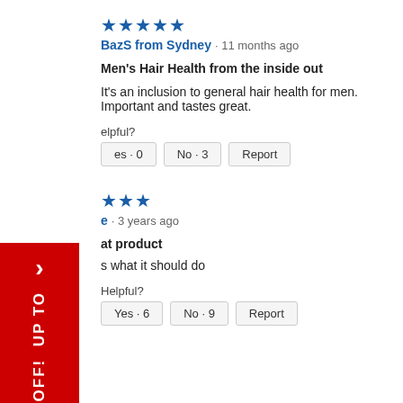★★★★★
BazS from Sydney · 11 months ago
Men's Hair Health from the inside out
It's an inclusion to general hair health for men. Important and tastes great.
Helpful?
Yes · 0   No · 3   Report
[Figure (infographic): Red sidebar banner with right arrow and text 'GET 1/2 PRICE OFF! UP TO']
★★★
· 3 years ago
at product
s what it should do
Helpful?
Yes · 6   No · 9   Report